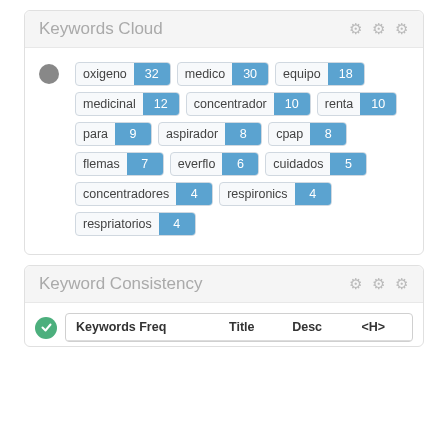Keywords Cloud
[Figure (infographic): Keywords cloud showing keyword tags with counts: oxigeno 32, medico 30, equipo 18, medicinal 12, concentrador 10, renta 10, para 9, aspirador 8, cpap 8, flemas 7, everflo 6, cuidados 5, concentradores 4, respironics 4, respriatorios 4]
Keyword Consistency
| Keywords Freq | Title | Desc | <H> |
| --- | --- | --- | --- |